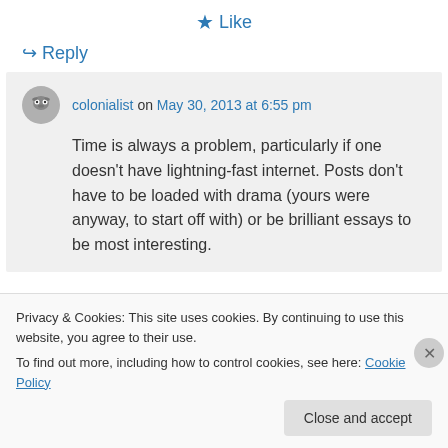★ Like
↪ Reply
colonialist on May 30, 2013 at 6:55 pm
Time is always a problem, particularly if one doesn't have lightning-fast internet. Posts don't have to be loaded with drama (yours were anyway, to start off with) or be brilliant essays to be most interesting.
Privacy & Cookies: This site uses cookies. By continuing to use this website, you agree to their use.
To find out more, including how to control cookies, see here: Cookie Policy
Close and accept